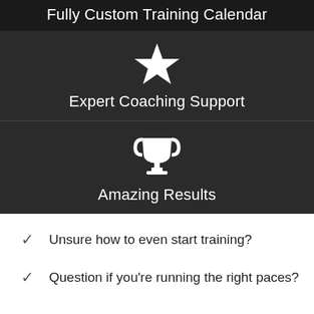Fully Custom Training Calendar
[Figure (illustration): White star icon on dark background representing Expert Coaching Support]
Expert Coaching Support
[Figure (illustration): White trophy icon on dark background representing Amazing Results]
Amazing Results
Unsure how to even start training?
Question if you're running the right paces?